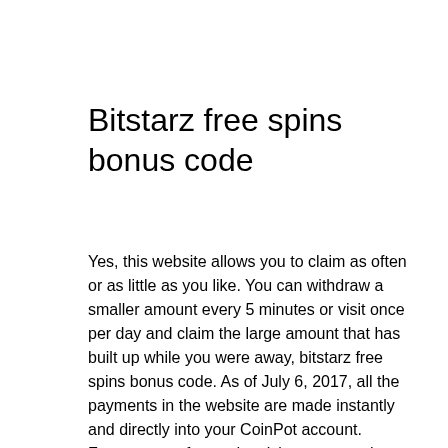Bitstarz free spins bonus code
Yes, this website allows you to claim as often or as little as you like. You can withdraw a smaller amount every 5 minutes or visit once per day and claim the large amount that has built up while you were away, bitstarz free spins bonus code. As of July 6, 2017, all the payments in the website are made instantly and directly into your CoinPot account. Faucets earn from advertising to cover the cost of the coins it gives away, bitstarz free spins bonus code.
For more information, including how this platform uses other cryptocurrencies like ETH, LTC or Dogecoin, check out this